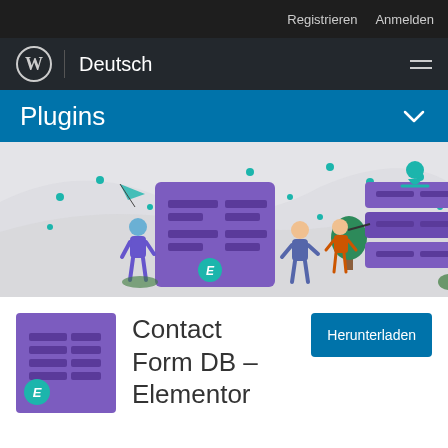Registrieren  Anmelden
[Figure (logo): WordPress logo (W in circle) with vertical divider and 'Deutsch' text, hamburger menu icon on right]
Plugins
[Figure (illustration): WordPress plugin promotional illustration showing people interacting with large purple form/document blocks and server stacks, with teal accents and dots on light gray background]
[Figure (logo): Contact Form DB - Elementor plugin icon: purple square with dark purple horizontal line rows and teal Elementor 'E' badge in bottom left corner]
Contact Form DB – Elementor
Herunterladen